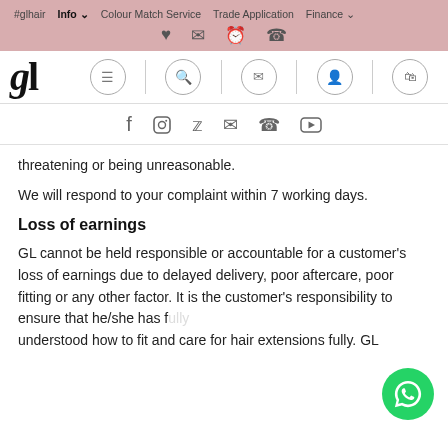#glhair  Info  Colour Match Service  Trade Application  Finance
[Figure (screenshot): GL Hair logo with navigation icons (hamburger menu, search, email, account, basket) on white background]
[Figure (infographic): Social media icons row: Facebook, Instagram, Twitter, Email, Phone, YouTube]
threatening or being unreasonable.
We will respond to your complaint within 7 working days.
Loss of earnings
GL cannot be held responsible or accountable for a customer's loss of earnings due to delayed delivery, poor aftercare, poor fitting or any other factor. It is the customer's responsibility to ensure that he/she has fully understood how to fit and care for hair extensions fully. GL